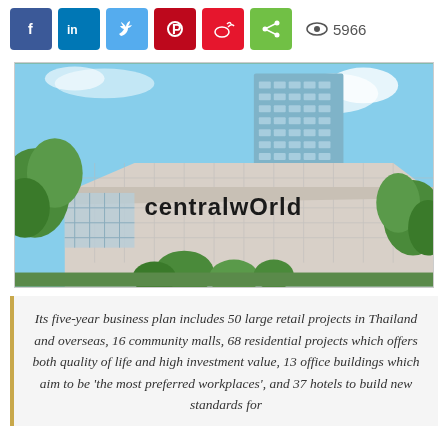[Figure (other): Social media sharing buttons: Facebook (blue), LinkedIn (blue), Twitter (light blue), Pinterest (red), Weibo (orange-red), Share (green), and a view count showing eye icon and 5966]
[Figure (photo): Photograph of CentralWorld shopping mall and tower in Bangkok, Thailand. Shows the distinctive latticed facade of the mall with 'centralwOrld' signage, lush green trees in the foreground, and a tall glass office tower rising behind the mall under a blue sky.]
Its five-year business plan includes 50 large retail projects in Thailand and overseas, 16 community malls, 68 residential projects which offers both quality of life and high investment value, 13 office buildings which aim to be 'the most preferred workplaces', and 37 hotels to build new standards for